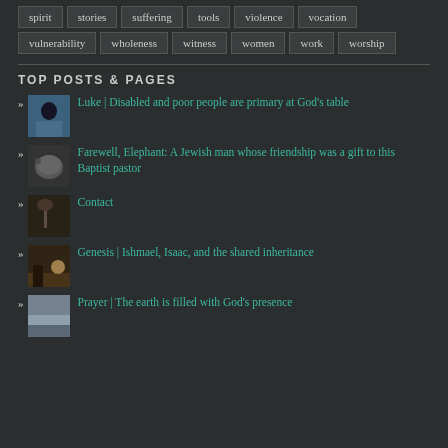spirit
stories
suffering
tools
violence
vocation
vulnerability
wholeness
witness
women
work
worship
TOP POSTS & PAGES
Luke | Disabled and poor people are primary at God's table
Farewell, Elephant: A Jewish man whose friendship was a gift to this Baptist pastor
Contact
Genesis | Ishmael, Isaac, and the shared inheritance
Prayer | The earth is filled with God's presence